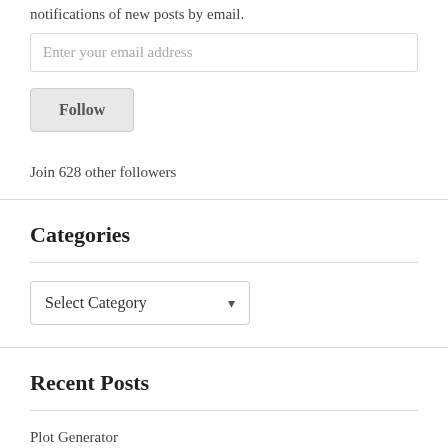notifications of new posts by email.
Enter your email address
Follow
Join 628 other followers
Categories
Select Category
Recent Posts
Plot Generator
DREAM Just Published!